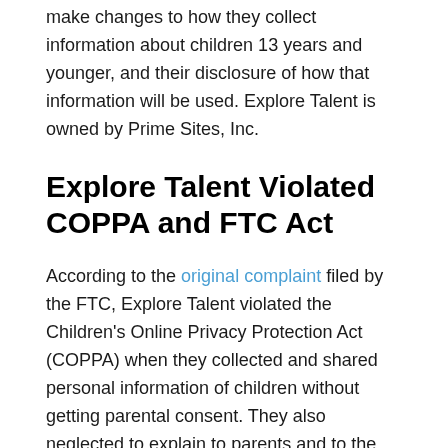make changes to how they collect information about children 13 years and younger, and their disclosure of how that information will be used. Explore Talent is owned by Prime Sites, Inc.
Explore Talent Violated COPPA and FTC Act
According to the original complaint filed by the FTC, Explore Talent violated the Children's Online Privacy Protection Act (COPPA) when they collected and shared personal information of children without getting parental consent. They also neglected to explain to parents and to the public what pieces of information would be collected, how that information would be used, and whether it would be shared with others. Interested consumers, even those under the age of 13 years, were required to submit personal information